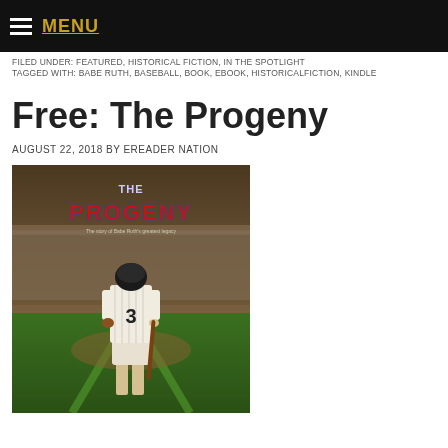MENU
FILED UNDER: FEATURED, HISTORICAL FICTION, IN THE SPOTLIGHT
TAGGED WITH: BABE RUTH, BASEBALL, BOOK, EBOOK, HISTORICALFICTION, KINDLE
Free: The Progeny
AUGUST 22, 2018 BY EREADER NATION
[Figure (photo): Book cover for 'The Progeny' showing a baseball player wearing jersey number 3 standing in a stadium with the title text in red and blue lettering]